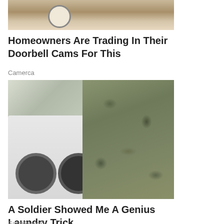[Figure (photo): Partial top image of a doorbell camera mounted, cropped at top]
Homeowners Are Trading In Their Doorbell Cams For This
Camerca
[Figure (photo): A soldier in camouflage uniform leaning on washing machines in a laundry room]
A Soldier Showed Me A Genius Laundry Trick
EarthBreeze